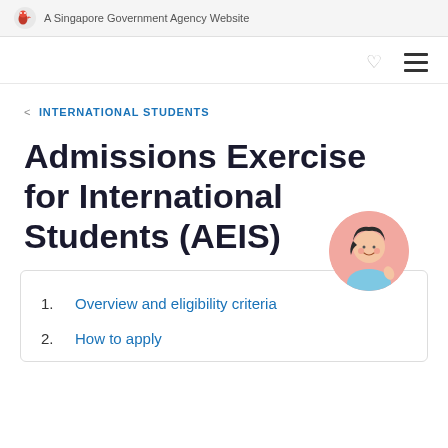A Singapore Government Agency Website
INTERNATIONAL STUDENTS
Admissions Exercise for International Students (AEIS)
1. Overview and eligibility criteria
2. How to apply